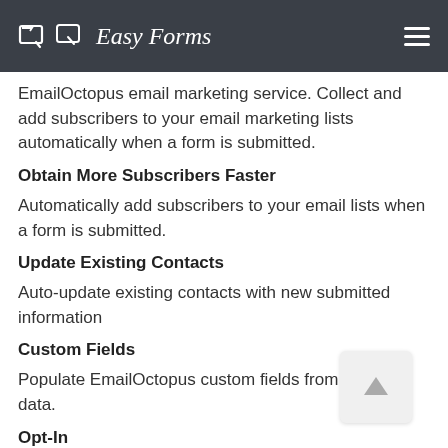Easy Forms
EmailOctopus email marketing service. Collect and add subscribers to your email marketing lists automatically when a form is submitted.
Obtain More Subscribers Faster
Automatically add subscribers to your email lists when a form is submitted.
Update Existing Contacts
Auto-update existing contacts with new submitted information
Custom Fields
Populate EmailOctopus custom fields from form field data.
Opt-In
Control opt-in and only add subscribers when a certain condition is met.
Install EmailOctopus Add-On